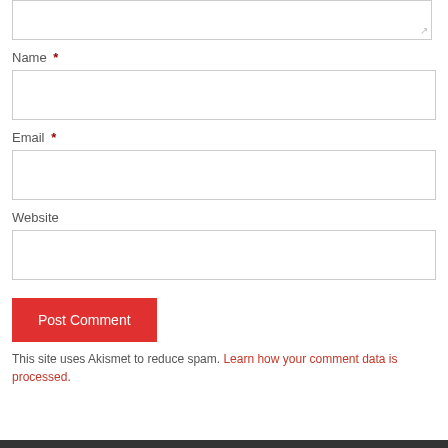[textarea top portion]
Name *
Email *
Website
Post Comment
This site uses Akismet to reduce spam. Learn how your comment data is processed.